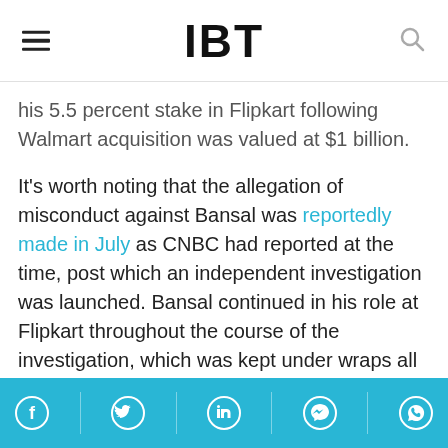IBT
his 5.5 percent stake in Flipkart following Walmart acquisition was valued at $1 billion.
It's worth noting that the allegation of misconduct against Bansal was reportedly made in July as CNBC had reported at the time, post which an independent investigation was launched. Bansal continued in his role at Flipkart throughout the course of the investigation, which was kept under wraps all along.
Social share icons: Facebook, Twitter, LinkedIn, Messenger, WhatsApp